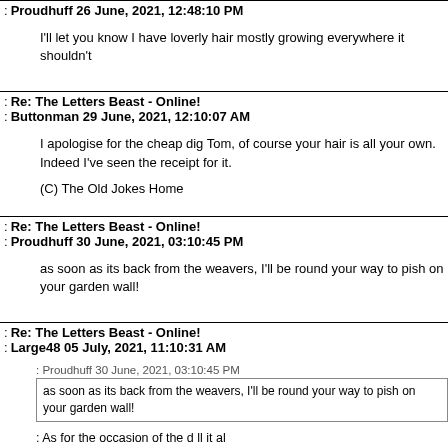: Proudhuff 26 June, 2021, 12:48:10 PM
I'll let you know I have loverly hair mostly growing everywhere it shouldn't
: Re: The Letters Beast - Online!
: Buttonman 29 June, 2021, 12:10:07 AM
I apologise for the cheap dig Tom, of course your hair is all your own. Indeed I've seen the receipt for it.

(C) The Old Jokes Home
: Re: The Letters Beast - Online!
: Proudhuff 30 June, 2021, 03:10:45 PM
as soon as its back from the weavers, I'll be round your way to pish on your garden wall!
: Re: The Letters Beast - Online!
: Large48 05 July, 2021, 11:10:31 AM
: Proudhuff 30 June, 2021, 03:10:45 PM
as soon as its back from the weavers, I'll be round your way to pish on your garden wall!
As for the occasion of the d ll it al